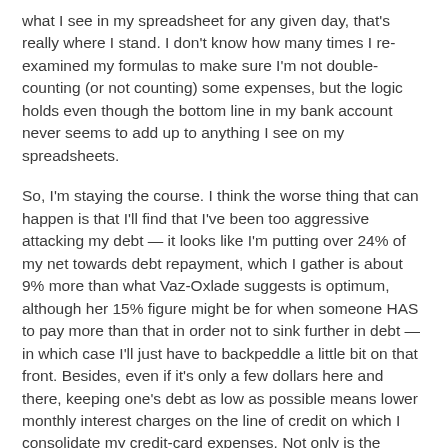what I see in my spreadsheet for any given day, that's really where I stand. I don't know how many times I re-examined my formulas to make sure I'm not double-counting (or not counting) some expenses, but the logic holds even though the bottom line in my bank account never seems to add up to anything I see on my spreadsheets.
So, I'm staying the course. I think the worse thing that can happen is that I'll find that I've been too aggressive attacking my debt — it looks like I'm putting over 24% of my net towards debt repayment, which I gather is about 9% more than what Vaz-Oxlade suggests is optimum, although her 15% figure might be for when someone HAS to pay more than that in order not to sink further in debt — in which case I'll just have to backpeddle a little bit on that front. Besides, even if it's only a few dollars here and there, keeping one's debt as low as possible means lower monthly interest charges on the line of credit on which I consolidate my credit-card expenses. Not only is the interest rate much lower on the line of credit, but the interest is paid monthly from my main account, meaning the outstanding balance on credit doesn't balloon, not to